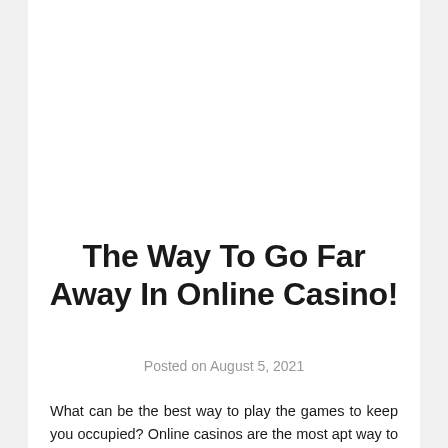The Way To Go Far Away In Online Casino!
Posted on August 5, 2021
What can be the best way to play the games to keep you occupied? Online casinos are the most apt way to make you have a good time and beating the boredom. Many factors are there which contribute to the fact that online casinos are the most preferred way to have a good time and also to